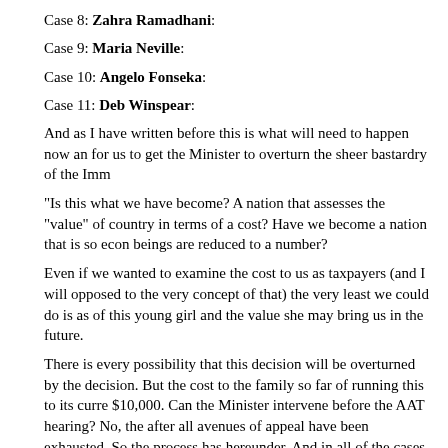Case 8: Zahra Ramadhani:
Case 9: Maria Neville:
Case 10: Angelo Fonseka:
Case 11: Deb Winspear:
And as I have written before this is what will need to happen now and for us to get the Minister to overturn the sheer bastardry of the Imm…
“Is this what we have become? A nation that assesses the “value” of a country in terms of a cost? Have we become a nation that is so econ… beings are reduced to a number?
Even if we wanted to examine the cost to us as taxpayers (and I will… opposed to the very concept of that) the very least we could do is as… of this young girl and the value she may bring us in the future.
There is every possibility that this decision will be overturned by the… decision. But the cost to the family so far of running this to its curre… $10,000. Can the Minister intervene before the AAT hearing? No, the… after all avenues of appeal have been exhausted. So the process has… hereunder. And in all of the cases above we have had to play this ou…
Primary application to the DIBP who WILL reject it.
Appeal to the AAT (formerly MRT) who WILL ALSO reject it
Appeal to the minister for ministerial intervention
Concurrent to the above appeal to the Minister we need to run t…